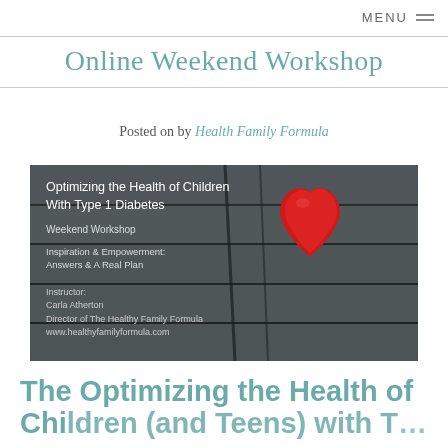MENU
Online Weekend Workshop
Posted on by Health Family Formula
[Figure (photo): Workshop promotional image with a red heart on wooden planks. Text overlay reads: Optimizing the Health of Children With Type 1 Diabetes. Weekend Workshop. Inspiration & Empowerment: Answers & A Real Plan. Instructor: Carla Atherton, Director of The Healthy Family Formula, www.healthyfamilyformula.com]
The Optimizing the Health of Children (and Teens) with T...